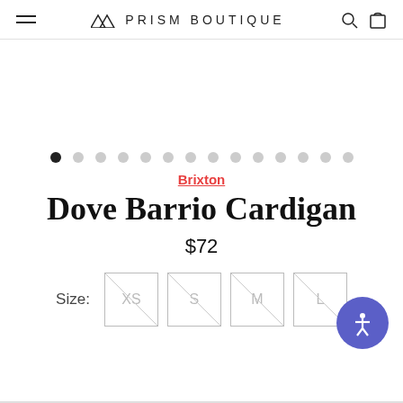PRISM BOUTIQUE
[Figure (other): Product image carousel area (blank/white) with navigation dots below. 14 dots shown, first dot filled/active.]
Brixton
Dove Barrio Cardigan
$72
Size: XS S M L